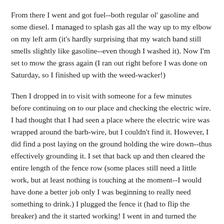From there I went and got fuel--both regular ol' gasoline and some diesel. I managed to splash gas all the way up to my elbow on my left arm (it's hardly surprising that my watch band still smells slightly like gasoline--even though I washed it). Now I'm set to mow the grass again (I ran out right before I was done on Saturday, so I finished up with the weed-wacker!)
Then I dropped in to visit with someone for a few minutes before continuing on to our place and checking the electric wire. I had thought that I had seen a place where the electric wire was wrapped around the barb-wire, but I couldn't find it. However, I did find a post laying on the ground holding the wire down--thus effectively grounding it. I set that back up and then cleared the entire length of the fence row (some places still need a little work, but at least nothing is touching at the moment--I would have done a better job only I was beginning to really need something to drink.) I plugged the fence it (had to flip the breaker) and the it started working! I went in and turned the kitchen sink on to clear the pipes so I could have something to drink. Suddenly I realized there was no water coming out of the pipe though there had